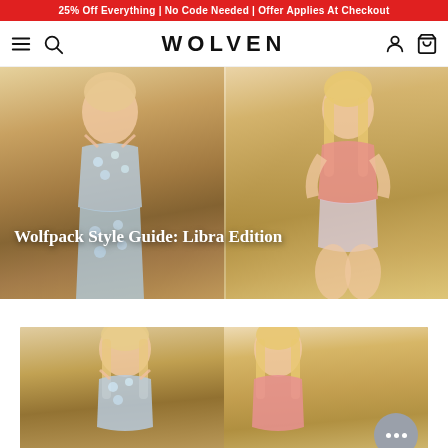25% Off Everything | No Code Needed | Offer Applies At Checkout
WOLVEN
[Figure (photo): Hero banner showing two blonde women in activewear (floral crop top/leggings and pink crop top) against warm golden draped fabric background, with text overlay 'Wolfpack Style Guide: Libra Edition']
Wolfpack Style Guide: Libra Edition
[Figure (photo): Second image showing same two women in same activewear outfits against warm golden draped fabric background, cropped view]